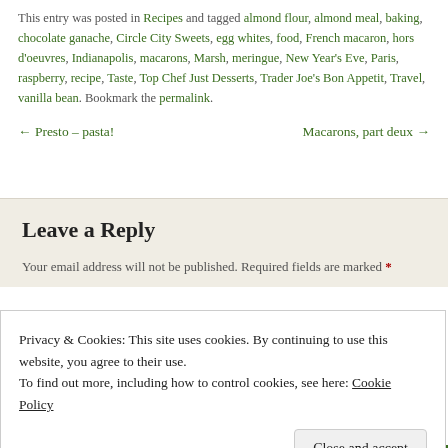This entry was posted in Recipes and tagged almond flour, almond meal, baking, chocolate ganache, Circle City Sweets, egg whites, food, French macaron, hors d'oeuvres, Indianapolis, macarons, Marsh, meringue, New Year's Eve, Paris, raspberry, recipe, Taste, Top Chef Just Desserts, Trader Joe's Bon Appetit, Travel, vanilla bean. Bookmark the permalink.
← Presto – pasta!    Macarons, part deux →
Leave a Reply
Your email address will not be published. Required fields are marked *
Privacy & Cookies: This site uses cookies. By continuing to use this website, you agree to their use.
To find out more, including how to control cookies, see here: Cookie Policy
Close and accept